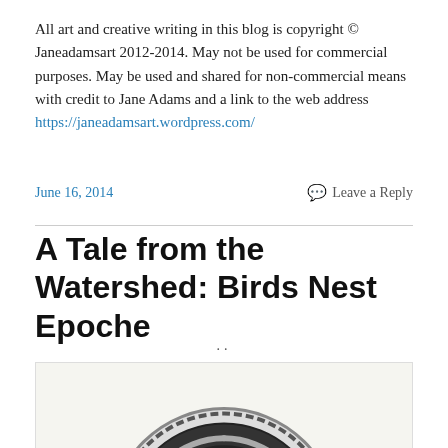All art and creative writing in this blog is copyright © Janeadamsart 2012-2014. May not be used for commercial purposes. May be used and shared for non-commercial means with credit to Jane Adams and a link to the web address https://janeadamsart.wordpress.com/
June 16, 2014
Leave a Reply
A Tale from the Watershed: Birds Nest Epoche
..
[Figure (illustration): Circular decorative medallion with intricate black and white patterned design, partially visible at bottom of page]